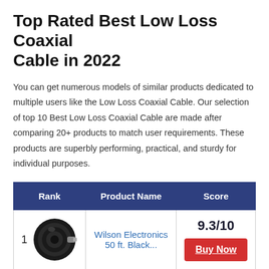Top Rated Best Low Loss Coaxial Cable in 2022
You can get numerous models of similar products dedicated to multiple users like the Low Loss Coaxial Cable. Our selection of top 10 Best Low Loss Coaxial Cable are made after comparing 20+ products to match user requirements. These products are superbly performing, practical, and sturdy for individual purposes.
| Rank | Product Name | Score |
| --- | --- | --- |
| 1 | Wilson Electronics 50 ft. Black... | 9.3/10 Buy Now |
|  |  | 9.3/10 |